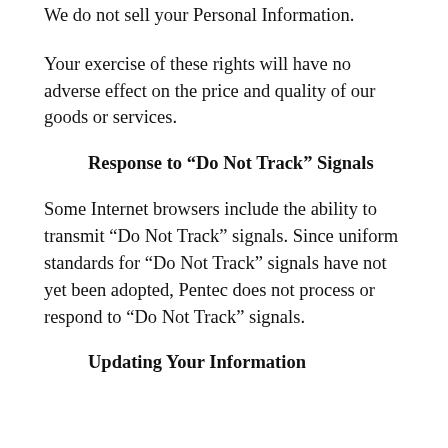We do not sell your Personal Information.
Your exercise of these rights will have no adverse effect on the price and quality of our goods or services.
Response to “Do Not Track” Signals
Some Internet browsers include the ability to transmit “Do Not Track” signals. Since uniform standards for “Do Not Track” signals have not yet been adopted, Pentec does not process or respond to “Do Not Track” signals.
Updating Your Information
...